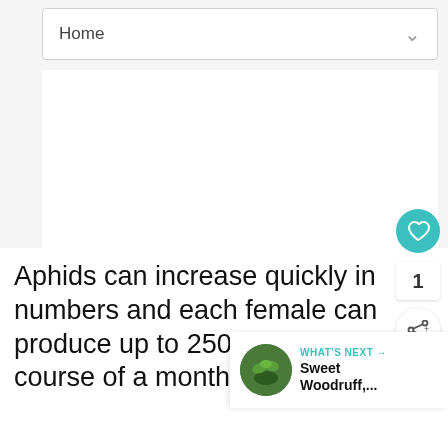Home
[Figure (screenshot): Large blank/white content area showing a webpage screenshot with navigation bar at top]
Aphids can increase quickly in numbers and each female can produce up to 250 nymphs in the course of a month without mating. Aphids often congregate on the